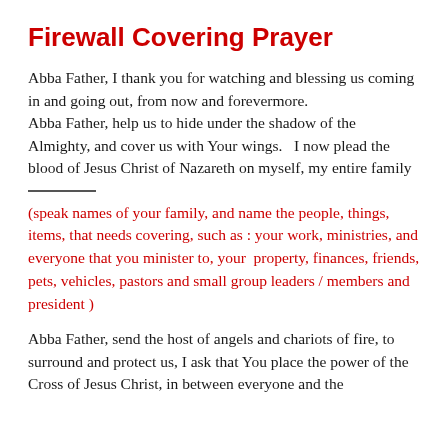Firewall Covering Prayer
Abba Father, I thank you for watching and blessing us coming in and going out, from now and forevermore. Abba Father, help us to hide under the shadow of the Almighty, and cover us with Your wings.   I now plead the blood of Jesus Christ of Nazareth on myself, my entire family
(speak names of your family, and name the people, things, items, that needs covering, such as : your work, ministries, and everyone that you minister to, your  property, finances, friends, pets, vehicles, pastors and small group leaders / members and president )
Abba Father, send the host of angels and chariots of fire, to surround and protect us, I ask that You place the power of the Cross of Jesus Christ, in between everyone and the